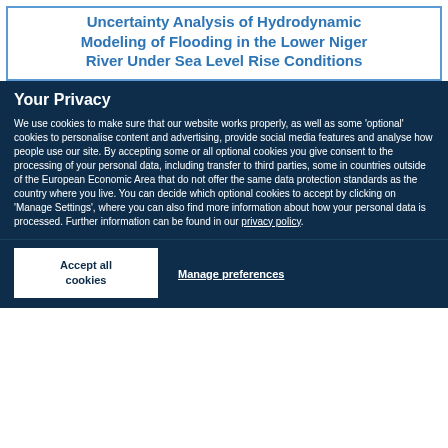Uncertainty Analysis of Hydrodynamic Modeling of Flooding in the Lower Niger River Under Sea Level Rise Conditions
Your Privacy
We use cookies to make sure that our website works properly, as well as some 'optional' cookies to personalise content and advertising, provide social media features and analyse how people use our site. By accepting some or all optional cookies you give consent to the processing of your personal data, including transfer to third parties, some in countries outside of the European Economic Area that do not offer the same data protection standards as the country where you live. You can decide which optional cookies to accept by clicking on 'Manage Settings', where you can also find more information about how your personal data is processed. Further information can be found in our privacy policy.
Accept all cookies
Manage preferences